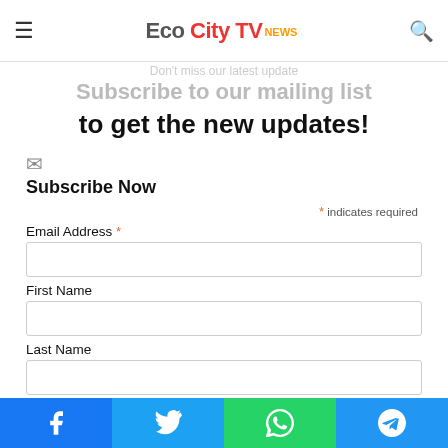Eco City TV News
Don't miss our latest update
Subscribe to our mailing list to get the new updates!
Subscribe Now
* indicates required
Email Address *
First Name
Last Name
Facebook | Twitter | WhatsApp | Telegram